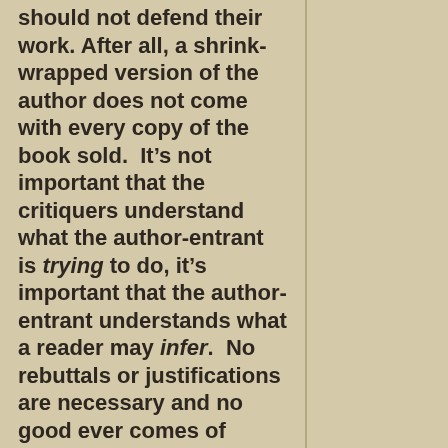should not defend their work. After all, a shrink-wrapped version of the author does not come with every copy of the book sold.  It’s not important that the critiquers understand what the author-entrant is trying to do, it’s important that the author-entrant understands what a reader may infer.  No rebuttals or justifications are necessary and no good ever comes of